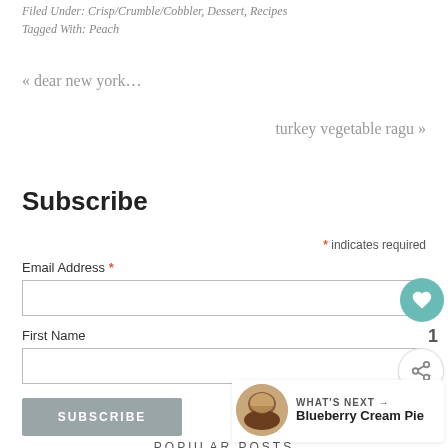Filed Under: Crisp/Crumble/Cobbler, Dessert, Recipes
Tagged With: Peach
« dear new york…
turkey vegetable ragu »
Subscribe
* indicates required
Email Address *
First Name
SUBSCRIBE
POPULAR POSTS